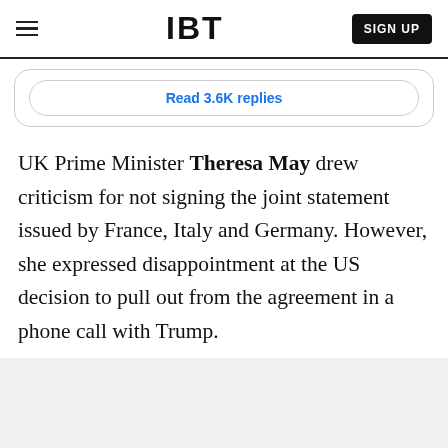IBT
Read 3.6K replies
UK Prime Minister Theresa May drew criticism for not signing the joint statement issued by France, Italy and Germany. However, she expressed disappointment at the US decision to pull out from the agreement in a phone call with Trump.